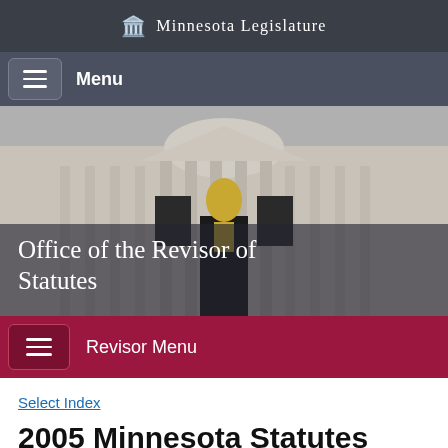Minnesota Legislature
Menu
[Figure (screenshot): Minnesota State Capitol building exterior with golden statue, columns and ornate facade. Overlaid text: Office of the Revisor of Statutes]
Revisor Menu
Select Index
2005 Minnesota Statutes Index (topics)